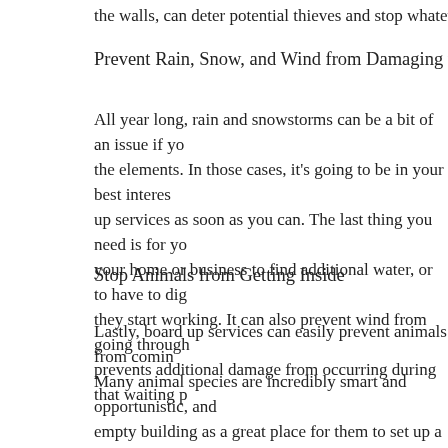the walls, can deter potential thieves and stop whatever is left i
Prevent Rain, Snow, and Wind from Damaging the Property Fu
All year long, rain and snowstorms can be a bit of an issue if yo the elements. In those cases, it's going to be in your best interes up services as soon as you can. The last thing you need is for yo your home or business to find additional water, or to have to dig they start working. It can also prevent wind from going through prevents additional damage from occurring during that waiting p
Stop Animals from Getting Inside
Lastly, board up services can easily prevent animals from comin Many animal species are incredibly smart and opportunistic, and empty building as a great place for them to set up a den or shelt boarded up, they will have fewer ways to get inside. Smaller an crannies where they can get in, so you'll need to keep an eye ou But, at least squirrels and mice are easier and safer to deal with